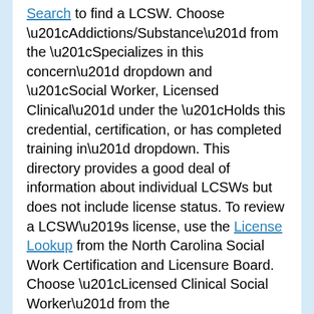Search to find a LCSW. Choose “Addictions/Substance” from the “Specializes in this concern” dropdown and “Social Worker, Licensed Clinical” under the “Holds this credential, certification, or has completed training in” dropdown. This directory provides a good deal of information about individual LCSWs but does not include license status. To review a LCSW’s license, use the License Lookup from the North Carolina Social Work Certification and Licensure Board. Choose “Licensed Clinical Social Worker” from the “Certification” dropdown.
Licensed Professional Counselors
Licensed professional counselors (LPCs) have master’s degrees and are trained to work with individuals, families, and groups in treating mental,